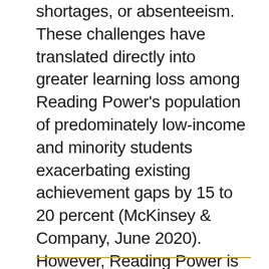shortages, or absenteeism. These challenges have translated directly into greater learning loss among Reading Power's population of predominately low-income and minority students exacerbating existing achievement gaps by 15 to 20 percent (McKinsey & Company, June 2020). However, Reading Power is part of the solution. In fact, research shows that a proven catalyst for accelerated learning is the kind of one-to-one teaching/tutoring support that Reading Power provides students.
——